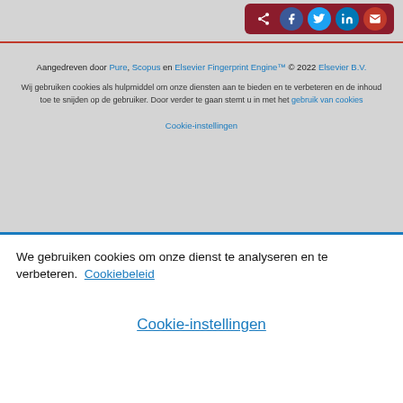[Figure (screenshot): Share bar with icons for share, Facebook, Twitter, LinkedIn, and email on dark red background]
Aangedreven door Pure, Scopus en Elsevier Fingerprint Engine™ © 2022 Elsevier B.V.
Wij gebruiken cookies als hulpmiddel om onze diensten aan te bieden en te verbeteren en de inhoud toe te snijden op de gebruiker. Door verder te gaan stemt u in met het gebruik van cookies
Cookie-instellingen
We gebruiken cookies om onze dienst te analyseren en te verbeteren. Cookiebeleid
Cookie-instellingen